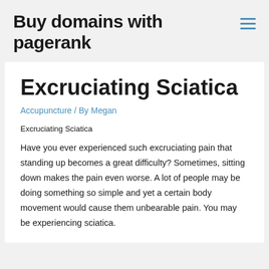Buy domains with pagerank
Excruciating Sciatica
Accupuncture / By Megan
Excruciating Sciatica
Have you ever experienced such excruciating pain that standing up becomes a great difficulty? Sometimes, sitting down makes the pain even worse. A lot of people may be doing something so simple and yet a certain body movement would cause them unbearable pain. You may be experiencing sciatica.